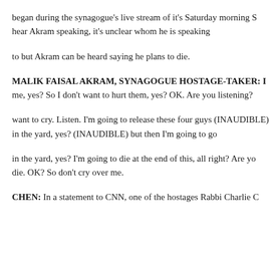began during the synagogue's live stream of it's Saturday morning S hear Akram speaking, it's unclear whom he is speaking
to but Akram can be heard saying he plans to die.
MALIK FAISAL AKRAM, SYNAGOGUE HOSTAGE-TAKER: I me, yes? So I don't want to hurt them, yes? OK. Are you listening?
want to cry. Listen. I'm going to release these four guys (INAUDIBLE) in the yard, yes? (INAUDIBLE) but then I'm going to go
in the yard, yes? I'm going to die at the end of this, all right? Are you die. OK? So don't cry over me.
CHEN: In a statement to CNN, one of the hostages Rabbi Charlie C